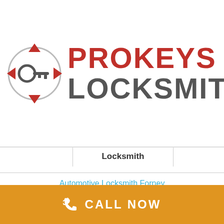[Figure (logo): ProKeys Locksmith logo with key icon and red/gray text]
Locksmith
Automotive Locksmith Forney
Car locksmith
Ignitions rekey
Car Key Replacement
Replace keyless entry remotes
CALL NOW